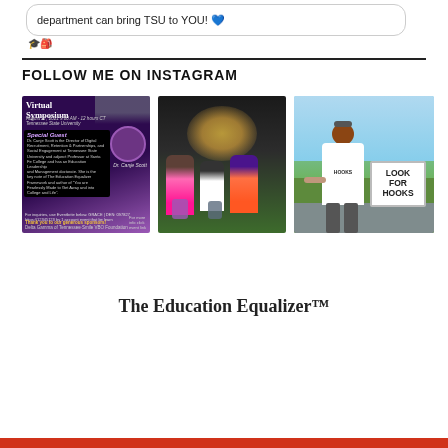department can bring TSU to YOU! 💙
FOLLOW ME ON INSTAGRAM
[Figure (photo): Virtual Symposium flyer with special guest Dr. Canje Scott, purple and black themed promotional image]
[Figure (photo): Three children sitting in trunk of car, wearing colorful clothes]
[Figure (photo): Person in white t-shirt holding sign that reads LOOK FOR HOOKS, outdoor setting]
The Education Equalizer™